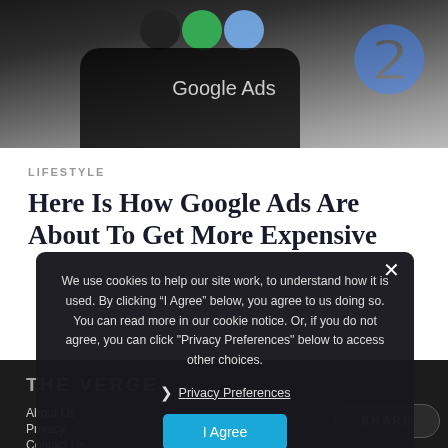[Figure (photo): A hand holding a smartphone displaying Google Ads text, with colorful circles (green, blue) visible at the top. A large blue letter G logo partially visible on the right side. Dark background.]
LIFESTYLE
Here Is How Google Ads Are About To Get More Expensive
THE VERGE
About Us
Privacy
Contact Us
We use cookies to help our site work, to understand how it is used. By clicking "I Agree" below, you agree to us doing so. You can read more in our cookie notice. Or, if you do not agree, you can click "Privacy Preferences" below to access other choices.
Privacy Preferences
I Agree
SHARE